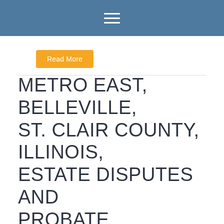Navigation menu (hamburger icon)
Read More
METRO EAST, BELLEVILLE, ST. CLAIR COUNTY, ILLINOIS, ESTATE DISPUTES AND PROBATE LAWSUITS, ESTATE LITIGATION LAW FIRM, (CONFIDENTIAL) ESTATE – COLUMBIA (MONROE COUNTY), ILLINOIS (CONFIDENTIAL)